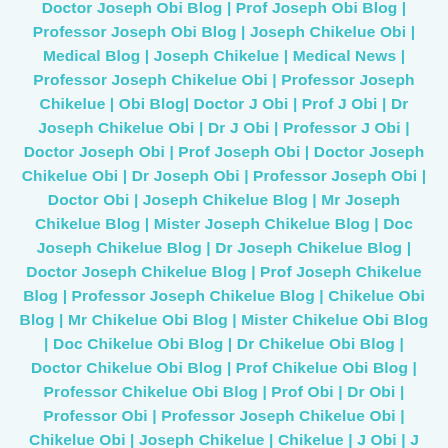Joseph Obi Blog | Mr Joseph Obi Blog | Mister Joseph Obi Blog | Doc Joseph Obi Blog | Dr Joseph Obi Blog | Doctor Joseph Obi Blog | Prof Joseph Obi Blog | Professor Joseph Obi Blog | Joseph Chikelue Obi | Medical Blog | Joseph Chikelue | Medical News | Professor Joseph Chikelue Obi | Professor Joseph Chikelue | Obi Blog| Doctor J Obi | Prof J Obi | Dr Joseph Chikelue Obi | Dr J Obi | Professor J Obi | Doctor Joseph Obi | Prof Joseph Obi | Doctor Joseph Chikelue Obi | Dr Joseph Obi | Professor Joseph Obi | Doctor Obi | Joseph Chikelue Blog | Mr Joseph Chikelue Blog | Mister Joseph Chikelue Blog | Doc Joseph Chikelue Blog | Dr Joseph Chikelue Blog | Doctor Joseph Chikelue Blog | Prof Joseph Chikelue Blog | Professor Joseph Chikelue Blog | Chikelue Obi Blog | Mr Chikelue Obi Blog | Mister Chikelue Obi Blog | Doc Chikelue Obi Blog | Dr Chikelue Obi Blog | Doctor Chikelue Obi Blog | Prof Chikelue Obi Blog | Professor Chikelue Obi Blog | Prof Obi | Dr Obi | Professor Obi | Professor Joseph Chikelue Obi | Chikelue Obi | Joseph Chikelue | Chikelue | J Obi | J Chikelue Obi | Doctor Joe Obi | Dr Joe Obi | Dr Joey Obi |